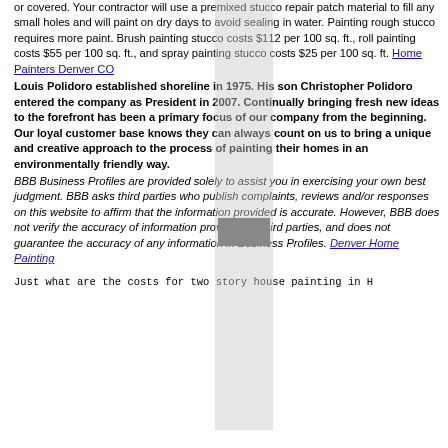or covered. Your contractor will use a premixed stucco repair patch material to fill any small holes and will paint on dry days to avoid sealing in water. Painting rough stucco requires more paint. Brush painting stucco costs $112 per 100 sq. ft., roll painting costs $55 per 100 sq. ft., and spray painting stucco costs $25 per 100 sq. ft. Home Painters Denver CO
Louis Polidoro established shoreline in 1975. His son Christopher Polidoro entered the company as President in 2007. Continually bringing fresh new ideas to the forefront has been a primary focus of our company from the beginning. Our loyal customer base knows they can always count on us to bring a unique and creative approach to the process of painting their homes in an environmentally friendly way.
BBB Business Profiles are provided solely to assist you in exercising your own best judgment. BBB asks third parties who publish complaints, reviews and/or responses on this website to affirm that the information provided is accurate. However, BBB does not verify the accuracy of information provided by third parties, and does not guarantee the accuracy of any information in Business Profiles. Denver Home Painting
Just what are the costs for two story house painting in H